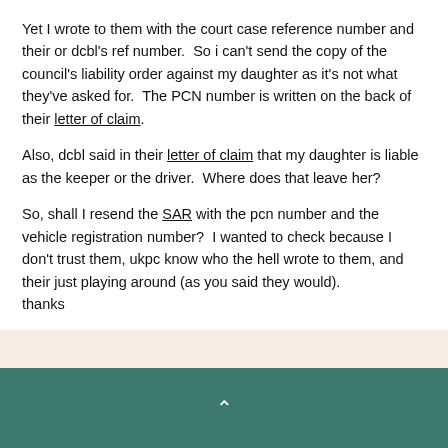Yet I wrote to them with the court case reference number and their or dcbl's ref number.  So i can't send the copy of the council's liability order against my daughter as it's not what they've asked for.  The PCN number is written on the back of their letter of claim.
Also, dcbl said in their letter of claim that my daughter is liable as the keeper or the driver.  Where does that leave her?
So, shall I resend the SAR with the pcn number and the vehicle registration number?  I wanted to check because I don't trust them, ukpc know who the hell wrote to them, and their just playing around (as you said they would).
thanks
and i am certain that no response to the CPR request has been received.  Not sure what to expect as I can't remember what a CPR is